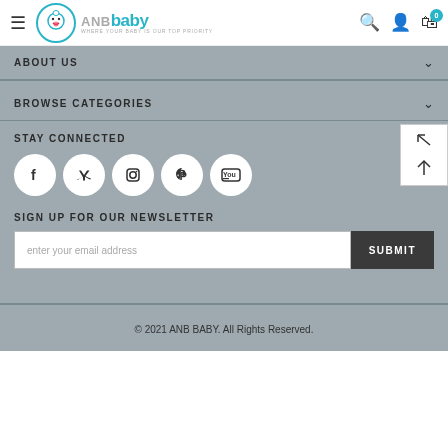ANBbaby — WHERE YOUR BABY IS OUR TOP PRIORITY
ABOUT US
BROWSE CATEGORIES
STAY CONNECTED
[Figure (illustration): Social media icons: Facebook, Twitter, Instagram, Pinterest, YouTube — each in a white circle on gray background]
SIGN UP FOR OUR NEWSLETTER
enter your email address
© 2021 ANB BABY. All Rights Reserved.